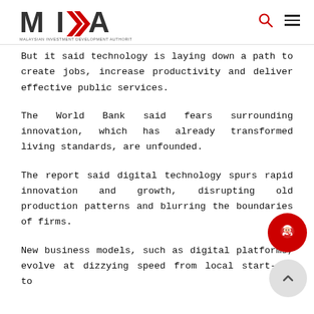MIDA - Malaysian Investment Development Authority
But it said technology is laying down a path to create jobs, increase productivity and deliver effective public services.
The World Bank said fears surrounding innovation, which has already transformed living standards, are unfounded.
The report said digital technology spurs rapid innovation and growth, disrupting old production patterns and blurring the boundaries of firms.
New business models, such as digital platforms, evolve at dizzying speed from local start-ups to